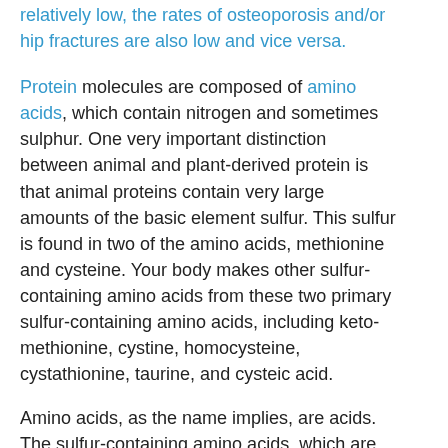relatively low, the rates of osteoporosis and/or hip fractures are also low and vice versa.
Protein molecules are composed of amino acids, which contain nitrogen and sometimes sulphur. One very important distinction between animal and plant-derived protein is that animal proteins contain very large amounts of the basic element sulfur. This sulfur is found in two of the amino acids, methionine and cysteine. Your body makes other sulfur-containing amino acids from these two primary sulfur-containing amino acids, including keto-methionine, cystine, homocysteine, cystathionine, taurine, and cysteic acid.
Amino acids, as the name implies, are acids. The sulfur-containing amino acids, which are abundant in meat, dairy, and eggs, are the strongest acids of all, because they